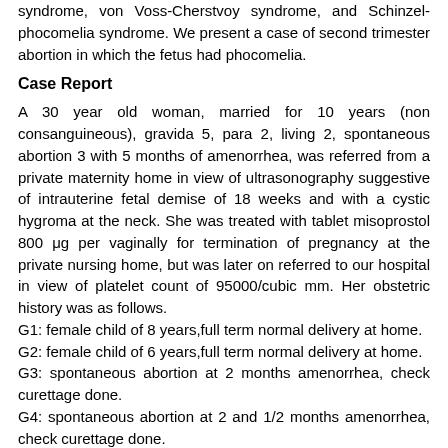syndrome, von Voss-Cherstvoy syndrome, and Schinzel-phocomelia syndrome. We present a case of second trimester abortion in which the fetus had phocomelia.
Case Report
A 30 year old woman, married for 10 years (non consanguineous), gravida 5, para 2, living 2, spontaneous abortion 3 with 5 months of amenorrhea, was referred from a private maternity home in view of ultrasonography suggestive of intrauterine fetal demise of 18 weeks and with a cystic hygroma at the neck. She was treated with tablet misoprostol 800 μg per vaginally for termination of pregnancy at the private nursing home, but was later on referred to our hospital in view of platelet count of 95000/cubic mm. Her obstetric history was as follows.
G1: female child of 8 years,full term normal delivery at home.
G2: female child of 6 years,full term normal delivery at home.
G3: spontaneous abortion at 2 months amenorrhea, check curettage done.
G4: spontaneous abortion at 2 and 1/2 months amenorrhea, check curettage done.